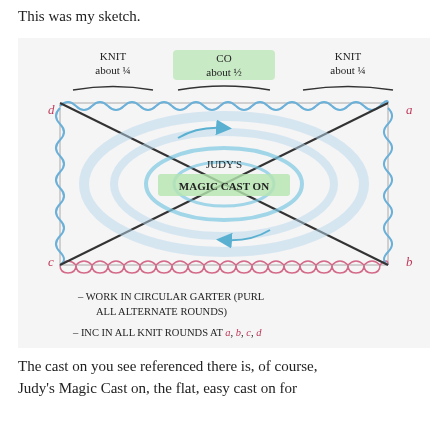This was my sketch.
[Figure (illustration): Hand-drawn sketch showing a knitting pattern diagram. A rectangle with corners labeled a (top-right), b (bottom-right), c (bottom-left), d (top-left). The top edge shows wavy lines with labels: 'KNIT about 1/4' on left portion, 'CO about 1/2' highlighted in green in the center, 'KNIT about 1/4' on right portion. The left and right edges show blue curly/coiled lines representing knitting. The bottom edge shows pink looped stitch symbols. Diagonal lines cross from corner to corner. In the center there are concentric blue oval/ellipse shapes with arrows indicating circular knitting direction, with text 'JUDY'S MAGIC CAST ON' in the center highlighted in green. Below the rectangle are notes: '- WORK IN CIRCULAR GARTER (PURL ALL ALTERNATE ROUNDS)' and '- INC IN ALL KNIT ROUNDS AT a, b, c, d']
The cast on you see referenced there is, of course, Judy's Magic Cast on, the flat, easy cast on for